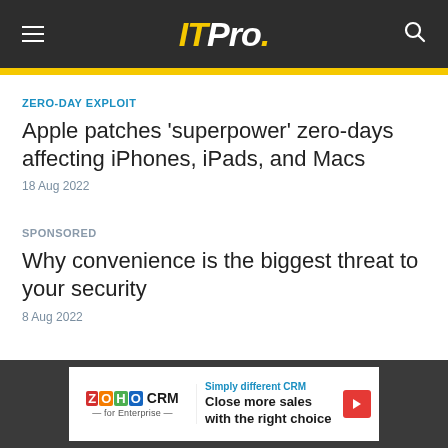ITPro.
ZERO-DAY EXPLOIT
Apple patches 'superpower' zero-days affecting iPhones, iPads, and Macs
18 Aug 2022
SPONSORED
Why convenience is the biggest threat to your security
8 Aug 2022
[Figure (infographic): Zoho CRM advertisement banner: Simply different CRM — Close more sales with the right choice]